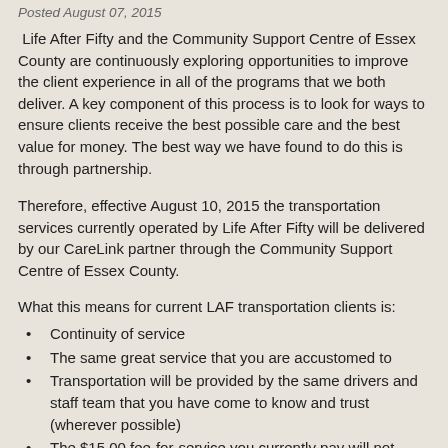Posted August 07, 2015
Life After Fifty and the Community Support Centre of Essex County are continuously exploring opportunities to improve the client experience in all of the programs that we both deliver. A key component of this process is to look for ways to ensure clients receive the best possible care and the best value for money. The best way we have found to do this is through partnership.
Therefore, effective August 10, 2015 the transportation services currently operated by Life After Fifty will be delivered by our CareLink partner through the Community Support Centre of Essex County.
What this means for current LAF transportation clients is:
Continuity of service
The same great service that you are accustomed to
Transportation will be provided by the same drivers and staff team that you have come to know and trust (wherever possible)
The $15.00 fee-for-service you currently pay will not change
The Community Support Centre of Essex County will provide the excellent transportion services you are accustomed to. This